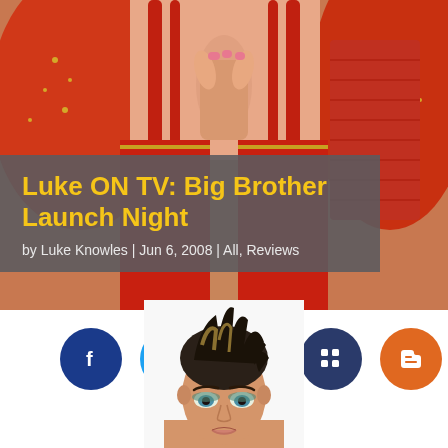[Figure (photo): Two women in red Indian-style outfits with gold embroidery, one with hands pressed together in a prayer/namaste gesture, cropped at torso level]
Luke ON TV: Big Brother Launch Night
by Luke Knowles | Jun 6, 2008 | All, Reviews
[Figure (infographic): Social media share buttons: Facebook (dark blue), Twitter (light blue), LinkedIn (dark blue), Myspace (dark navy), Blogger (orange)]
[Figure (photo): Head and shoulders of a woman with short dark hair with highlights, looking toward camera, cropped at top of page bottom]